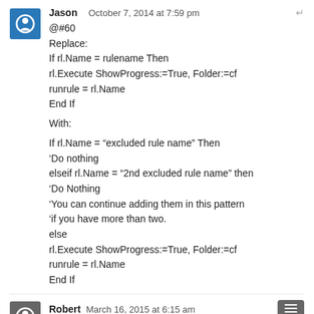Jason  October 7, 2014 at 7:59 pm
@#60
Replace:
If rl.Name = rulename Then
rl.Execute ShowProgress:=True, Folder:=cf
runrule = rl.Name
End If

With:

If rl.Name = “excluded rule name” Then
‘Do nothing
elseif rl.Name = “2nd excluded rule name” then
‘Do Nothing
‘You can continue adding them in this pattern
‘if you have more than two.
else
rl.Execute ShowProgress:=True, Folder:=cf
runrule = rl.Name
End If
Robert  March 16, 2015 at 6:15 am
I see this is no longer “actively” supported, but I am seeking to automate processing a select group of rules. I would like to